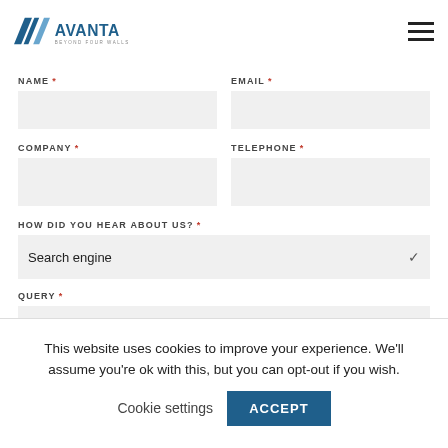[Figure (logo): Avanta logo with diagonal lines and text 'AVANTA BEYOND FOUR WALLS']
NAME * (form field)
EMAIL * (form field)
COMPANY * (form field)
TELEPHONE * (form field)
HOW DID YOU HEAR ABOUT US? * — Search engine (dropdown)
QUERY * (form field)
This website uses cookies to improve your experience. We'll assume you're ok with this, but you can opt-out if you wish.
Cookie settings
ACCEPT